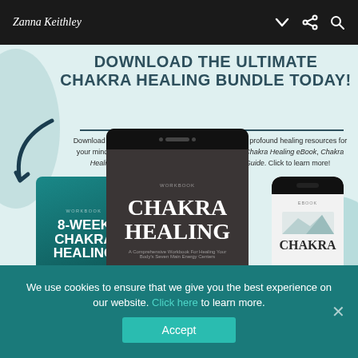Zanna Keithley
DOWNLOAD THE ULTIMATE CHAKRA HEALING BUNDLE TODAY!
Download the Ultimate Chakra Healing Bundle and get profound healing resources for your mind, body, and spirit. Your bundle includes the Chakra Healing eBook, Chakra Healing Workbook, and 8-Week Chakra Healing Guide. Click to learn more!
[Figure (photo): Product mockups showing three digital devices: a tablet showing 8-Week Chakra Healing Workbook, a larger tablet showing Chakra Healing workbook, and a smartphone showing Chakra content]
We use cookies to ensure that we give you the best experience on our website. Click here to learn more.
Accept